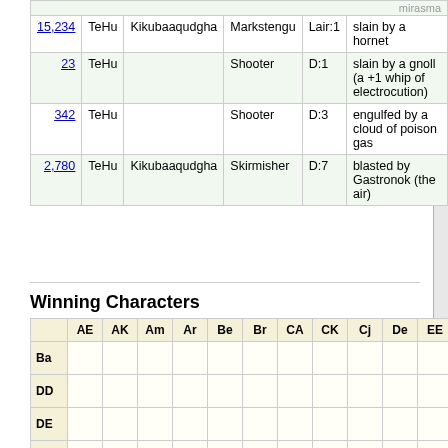| Score | Race | Background | Class | Place | Notes |
| --- | --- | --- | --- | --- | --- |
| 15,234 | TeHu | Kikubaaqudgha | Markstengu | Lair:1 | slain by a hornet |
| 23 | TeHu |  | Shooter | D:1 | slain by a gnoll (a +1 whip of electrocution) |
| 342 | TeHu |  | Shooter | D:3 | engulfed by a cloud of poison gas |
| 2,780 | TeHu | Kikubaaqudgha | Skirmisher | D:7 | blasted by Gastronok (the air) |
Winning Characters
|  | AE | AK | Am | Ar | Be | Br | CA | CK | Cj | De | EE | En | Ff |
| --- | --- | --- | --- | --- | --- | --- | --- | --- | --- | --- | --- | --- | --- |
| Ba |  |  |  |  |  |  |  |  |  |  |  |  |  |
| DD |  |  |  |  |  |  |  |  |  |  |  |  |  |
| DE |  |  |  |  |  |  |  |  |  |  |  |  |  |
| DG |  |  |  |  |  |  |  |  |  |  |  |  |  |
| DS |  |  |  |  |  |  |  |  |  |  |  |  |  |
| Dj |  |  |  |  |  |  |  |  |  |  |  |  |  |